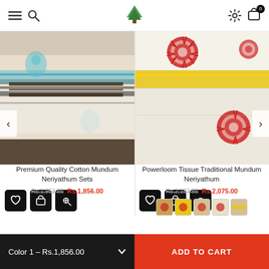Navigation header with menu, search, logo, settings, and cart (0 items)
[Figure (photo): Folded cotton mundum fabric with blue floral prints and dark stripes]
Premium Quality Cotton Mundum Neriyathum Sets
Rs.1,953.85  Rs.1,856.00
[Figure (photo): Folded tissue mundum fabric with red mandala prints and yellow border]
Powerloom Tissue Traditional Mundum Neriyathum
Rs.2,183.85  Rs.2,075.00
Color 1 – Rs.1,856.00   ADD TO CART